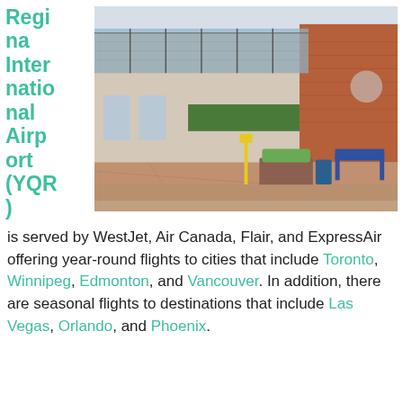Regina International Airport (YQR)
[Figure (photo): Exterior photo of Regina International Airport terminal building with glass canopy, brick facade, covered walkway, a bench and planter in the foreground, and a blue metal bench on the right side.]
is served by WestJet, Air Canada, Flair, and ExpressAir offering year-round flights to cities that include Toronto, Winnipeg, Edmonton, and Vancouver. In addition, there are seasonal flights to destinations that include Las Vegas, Orlando, and Phoenix.